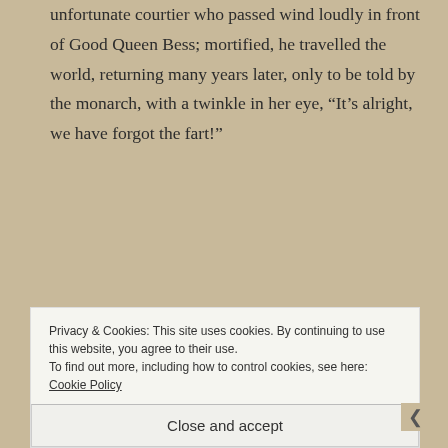unfortunate courtier who passed wind loudly in front of Good Queen Bess; mortified, he travelled the world, returning many years later, only to be told by the monarch, with a twinkle in her eye, “It’s alright, we have forgot the fart!”
Reply
[Figure (photo): Small avatar image of a historical/medieval-style figure, appears to be a painting]
KATESHREWSDAY
NOVEMBER 12, 2012 AT 7:20 PM
Privacy & Cookies: This site uses cookies. By continuing to use this website, you agree to their use.
To find out more, including how to control cookies, see here: Cookie Policy
Close and accept